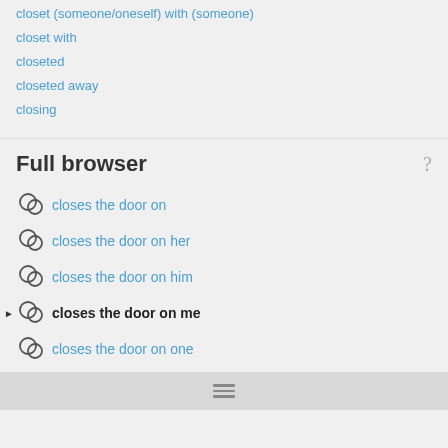closet (someone/oneself) with (someone)
closet with
closeted
closeted away
closing
Full browser
closes the door on
closes the door on her
closes the door on him
closes the door on me
closes the door on one
closes the door on somebody
closes the door on someone
closes the door on them